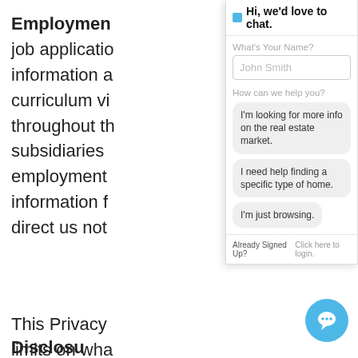Employment
job application
information a
curriculum v
throughout t
subsidiaries
employment
information f
direct us not
This Privacy
limits on wha
aggregated o
associated with an identifiable user of the W
Properties.
[Figure (screenshot): Chat widget overlay with header 'Hi, we'd love to chat!', name input field with placeholder 'John Smith', help topic label 'How can we help you?' with three clickable options: 'I'm looking for more info on the real estate market.', 'I need help finding a specific type of home.', 'I'm just browsing.', and footer 'Already Signed Up? Click here to login.']
[Figure (other): Blue circular floating chat button with speech bubble icon in bottom right corner]
Disclosures of Your Information...